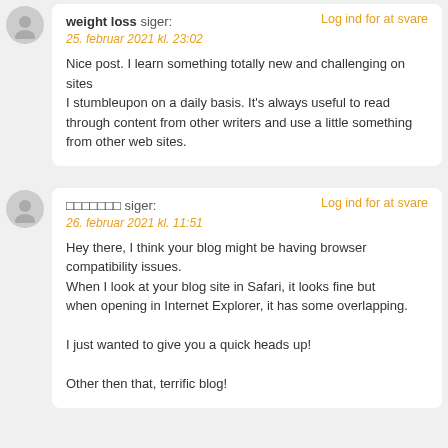weight loss siger: 25. februar 2021 kl. 23:02
Nice post. I learn something totally new and challenging on sites
I stumbleupon on a daily basis. It's always useful to read through content from other writers and use a little something from other web sites.
xxxxxxx siger: 26. februar 2021 kl. 11:51
Hey there, I think your blog might be having browser compatibility issues.
When I look at your blog site in Safari, it looks fine but
when opening in Internet Explorer, it has some overlapping.

I just wanted to give you a quick heads up!

Other then that, terrific blog!